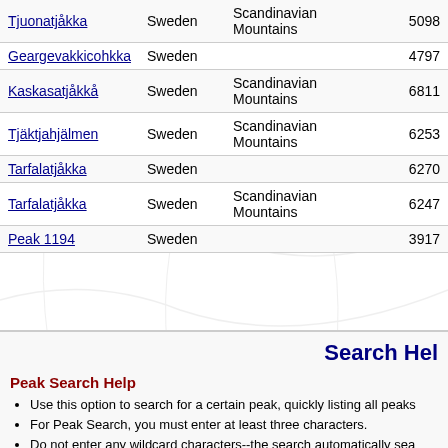| Peak | Country | Range | Elevation |
| --- | --- | --- | --- |
| Tjuonatjåkka | Sweden | Scandinavian Mountains | 5098 |
| Geargevakkicohkka | Sweden |  | 4797 |
| Kaskasatjåkkå | Sweden | Scandinavian Mountains | 6811 |
| Tjäktjahjälmen | Sweden | Scandinavian Mountains | 6253 |
| Tarfalatjåkka | Sweden |  | 6270 |
| Tarfalatjåkka | Sweden | Scandinavian Mountains | 6247 |
| Peak 1194 | Sweden |  | 3917 |
Search Hel
Peak Search Help
Use this option to search for a certain peak, quickly listing all peaks
For Peak Search, you must enter at least three characters.
Do not enter any wildcard characters--the search automatically sea
Do not abbreviate any words. Type "Mount Saint Helens", not "Mt. S
The maximum number of search results for any Peak Search is abo
For common peak names, you can filter by selecting a Nation and/o this filter.
Searching is not case-sensitive and ignores all accents and diacriti
The results are in order of how many page hits a Peak has receive first.
Radius Search Help